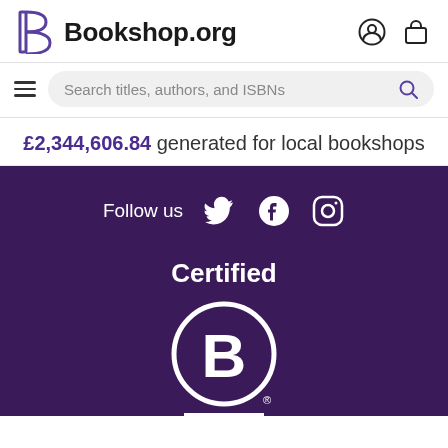Bookshop.org
Search titles, authors, and ISBNs
£2,344,606.84 generated for local bookshops
Follow us
[Figure (logo): Certified B Corporation logo in white on purple background]
Certified